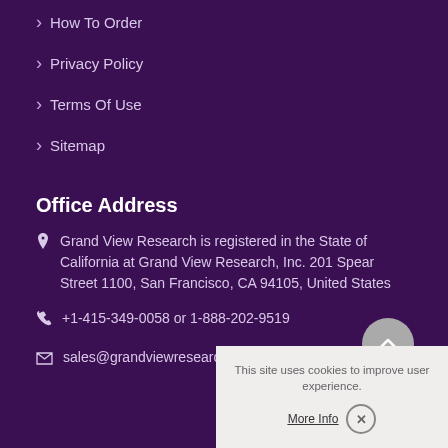How To Order
Privacy Policy
Terms Of Use
Sitemap
Office Address
Grand View Research is registered in the State of California at Grand View Research, Inc. 201 Spear Street 1100, San Francisco, CA 94105, United States
+1-415-349-0058 or 1-888-202-9519
sales@grandviewresearch.com
This site uses cookies to improve user experience.
More Info